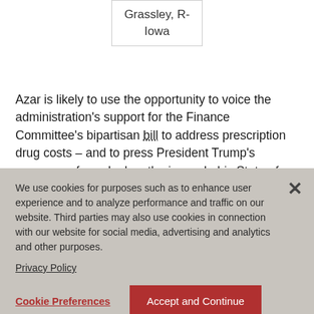| Grassley, R-Iowa |
Azar is likely to use the opportunity to voice the administration's support for the Finance Committee's bipartisan bill to address prescription drug costs – and to press President Trump's eagerness for a deal on the issue. In his State of the Union address last week, Trump
We use cookies for purposes such as to enhance user experience and to analyze performance and traffic on our website. Third parties may also use cookies in connection with our website for social media, advertising and analytics and other purposes.
Privacy Policy
Cookie Preferences
Accept and Continue